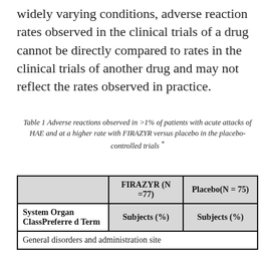widely varying conditions, adverse reaction rates observed in the clinical trials of a drug cannot be directly compared to rates in the clinical trials of another drug and may not reflect the rates observed in practice.
Table 1 Adverse reactions observed in >1% of patients with acute attacks of HAE and at a higher rate with FIRAZYR versus placebo in the placebo-controlled trials *
|  | FIRAZYR (N =77) | Placebo(N = 75) |
| --- | --- | --- |
| System Organ ClassPreferred Term | Subjects (%) | Subjects (%) |
| General disorders and administration site |  |  |